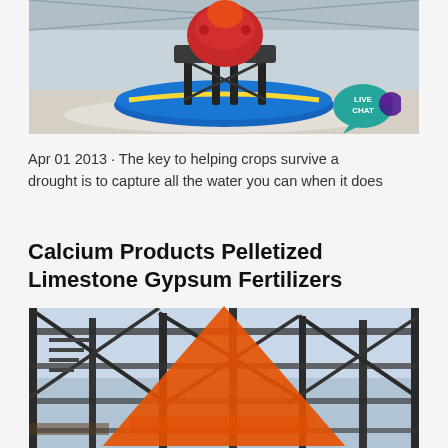[Figure (photo): Industrial machinery - a red and black mechanical device (appears to be a pelletizer or grinder) on a circular blue platform in a large industrial facility with white pellets/granules on the floor. A 'LIVE CHAT' speech bubble badge overlays the top-right corner.]
Apr 01 2013 · The key to helping crops survive a drought is to capture all the water you can when it does
Calcium Products Pelletized Limestone Gypsum Fertilizers
[Figure (photo): Industrial steel framework structure photographed from below looking up, silhouetted against a light sky. Large metal scaffolding and industrial equipment visible. An orange chevron/arrow watermark in lower right corner.]